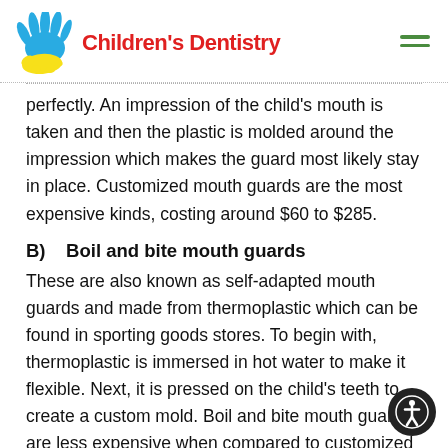[Figure (logo): Children's Dentistry logo with colorful hand graphic and red bold text]
perfectly. An impression of the child's mouth is taken and then the plastic is molded around the impression which makes the guard most likely stay in place. Customized mouth guards are the most expensive kinds, costing around $60 to $285.
B) Boil and bite mouth guards
These are also known as self-adapted mouth guards and made from thermoplastic which can be found in sporting goods stores. To begin with, thermoplastic is immersed in hot water to make it flexible. Next, it is pressed on the child's teeth to create a custom mold. Boil and bite mouth guards are less expensive when compared to customized mouth guards, provide